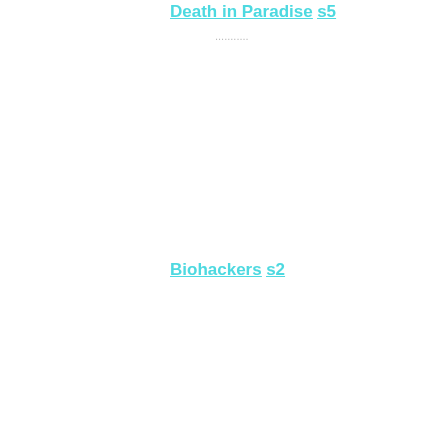Death in Paradise s5
...
Biohackers s2